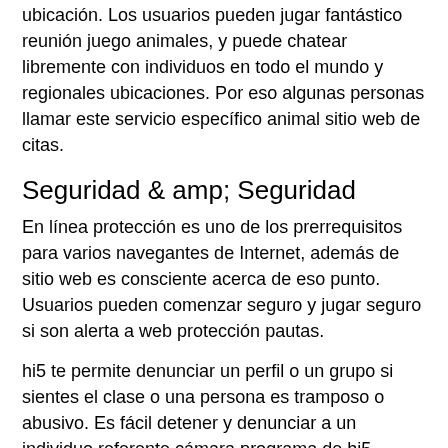ubicación. Los usuarios pueden jugar fantástico reunión juego animales, y puede chatear libremente con individuos en todo el mundo y regionales ubicaciones. Por eso algunas personas llamar este servicio específico animal sitio web de citas.
Seguridad & amp; Seguridad
En línea protección es uno de los prerrequisitos para varios navegantes de Internet, además de sitio web es consciente acerca de eso punto. Usuarios pueden comenzar seguro y jugar seguro si son alerta a web protección pautas.
hi5 te permite denunciar un perfil o un grupo si sientes el clase o una persona es tramposo o abusivo. Es fácil detener y denunciar a un individuo referente cámara programa de hi5.